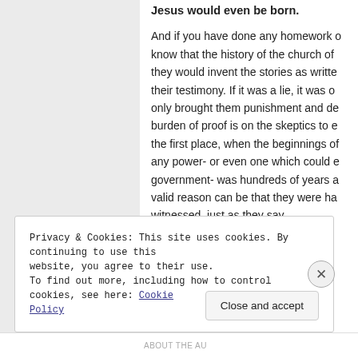Jesus would even be born.
And if you have done any homework on know that the history of the church off they would invent the stories as written their testimony. If it was a lie, it was on only brought them punishment and dea burden of proof is on the skeptics to ex the first place, when the beginnings of any power- or even one which could ex government- was hundreds of years aw valid reason can be that they were han witnessed, just as they say.
Privacy & Cookies: This site uses cookies. By continuing to use this website, you agree to their use.
To find out more, including how to control cookies, see here: Cookie Policy
Close and accept